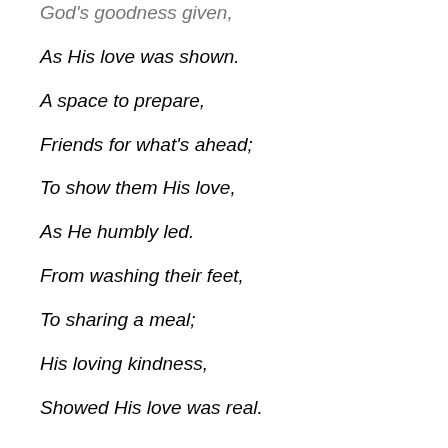God's goodness given,
As His love was shown.
A space to prepare,
Friends for what's ahead;
To show them His love,
As He humbly led.
From washing their feet,
To sharing a meal;
His loving kindness,
Showed His love was real.